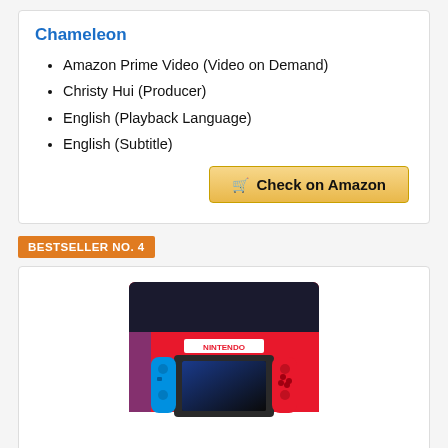Chameleon
Amazon Prime Video (Video on Demand)
Christy Hui (Producer)
English (Playback Language)
English (Subtitle)
Check on Amazon
BESTSELLER NO. 4
[Figure (photo): Nintendo Switch console with Neon Blue and Neon Red Joy-Con controllers, shown in product box packaging]
Nintendo Switch with Neon Blue and Neon Red Joy-Con
3 Play Styles: TV Mode, Tabletop Mode...